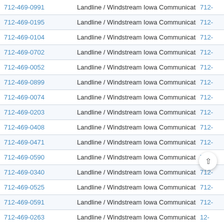| Phone | Type / Carrier |  |
| --- | --- | --- |
| 712-469-0991 | Landline / Windstream Iowa Communications - North | 712- |
| 712-469-0195 | Landline / Windstream Iowa Communications - North | 712- |
| 712-469-0104 | Landline / Windstream Iowa Communications - North | 712- |
| 712-469-0702 | Landline / Windstream Iowa Communications - North | 712- |
| 712-469-0052 | Landline / Windstream Iowa Communications - North | 712- |
| 712-469-0899 | Landline / Windstream Iowa Communications - North | 712- |
| 712-469-0074 | Landline / Windstream Iowa Communications - North | 712- |
| 712-469-0203 | Landline / Windstream Iowa Communications - North | 712- |
| 712-469-0408 | Landline / Windstream Iowa Communications - North | 712- |
| 712-469-0471 | Landline / Windstream Iowa Communications - North | 712- |
| 712-469-0590 | Landline / Windstream Iowa Communications - North | 712- |
| 712-469-0340 | Landline / Windstream Iowa Communications - North | 712- |
| 712-469-0525 | Landline / Windstream Iowa Communications - North | 712- |
| 712-469-0591 | Landline / Windstream Iowa Communications - North | 712- |
| 712-469-0263 | Landline / Windstream Iowa Communications - North | 12- |
| 712-469-0970 | Landline / Windstream Iowa Communications - North | /12- |
| 712-469-0441 | Landline / Windstream Iowa Communications - North | 712- |
| 712-469-0302 | Landline / Windstream Iowa Communications - North | 712- |